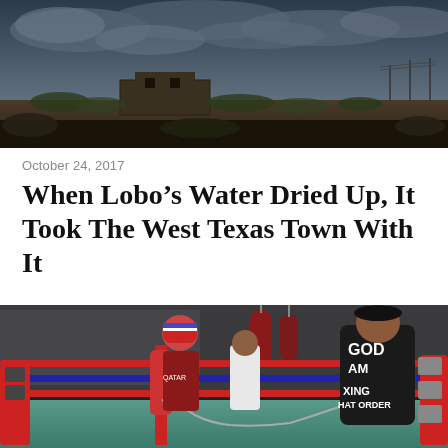[Figure (photo): Aerial/ground-level photo of a desolate West Texas landscape with cloudy sky, abandoned buildings and scrubby vegetation in the background.]
October 24, 2017
When Lobo’s Water Dried Up, It Took The West Texas Town With It
[Figure (photo): Interior of a boxing gym with a boxing ring in the foreground (red and blue ropes, chain corners). A large man wearing a black t-shirt reading 'GOD AND BOXING THAT ORDER' leans on the ropes. Boxers in patriotic headgear and QATAR shirts train in the background. Punching bags hang from the ceiling.]